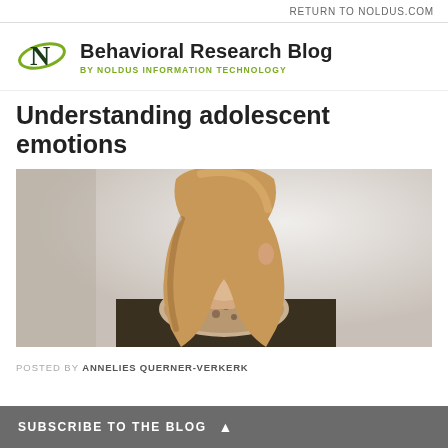RETURN TO NOLDUS.COM
Behavioral Research Blog BY NOLDUS INFORMATION TECHNOLOGY
Understanding adolescent emotions
[Figure (photo): Photograph of a teenage girl with long blonde/auburn hair wearing a dark jacket and patterned scarf, looking slightly sideways at the camera against a light grey background]
POSTED BY ANNELIES QUERNER-VERKERK
SUBSCRIBE TO THE BLOG